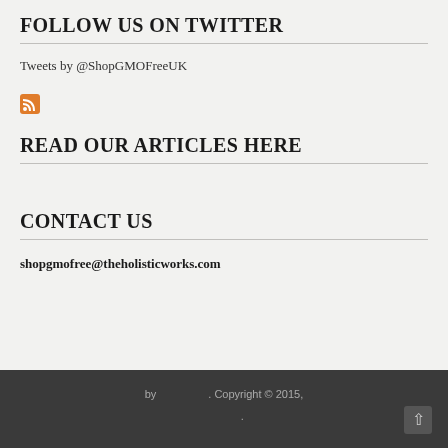FOLLOW US ON TWITTER
Tweets by @ShopGMOFreeUK
[Figure (logo): RSS feed icon - small orange square with RSS symbol]
READ OUR ARTICLES HERE
CONTACT US
shopgmofree@theholisticworks.com
by . Copyright © 2015, .